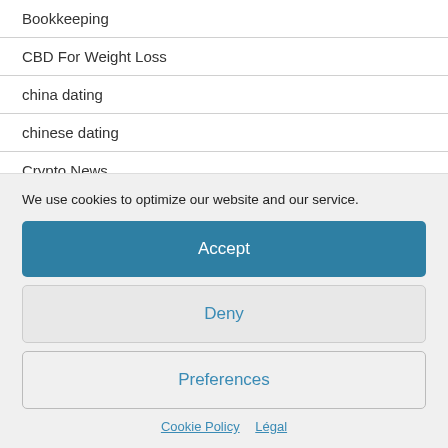Bookkeeping
CBD For Weight Loss
china dating
chinese dating
Crypto News
We use cookies to optimize our website and our service.
Accept
Deny
Preferences
Cookie Policy   Légal